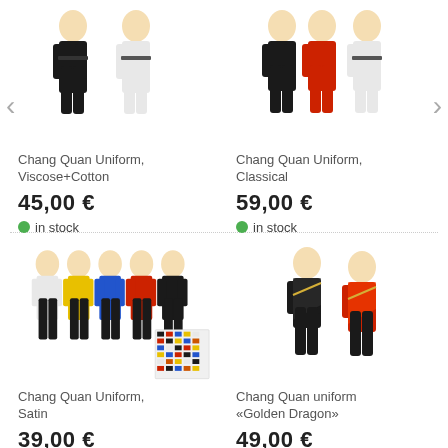[Figure (photo): Product photo of Chang Quan Uniform in black and white variants, Viscose+Cotton fabric]
Chang Quan Uniform, Viscose+Cotton
45,00 €
in stock
[Figure (photo): Product photo of Chang Quan Uniform in black, red, and white variants, Classical style]
Chang Quan Uniform, Classical
59,00 €
in stock
[Figure (photo): Product photo of Chang Quan Uniform in multiple colors (white, yellow, blue, red, black) Satin fabric, with color swatch grid]
Chang Quan Uniform, Satin
39,00 €
in stock
[Figure (photo): Product photo of Chang Quan uniform Golden Dragon in black and red with diagonal sash and gold trim]
Chang Quan uniform «Golden Dragon»
49,00 €
in stock